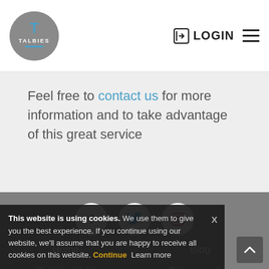[Figure (logo): Talbies logo: grey circle with teal T and white TALBIES text]
LOGIN
Feel free to contact us for more information and to take advantage of this great service
[Figure (infographic): Social media icons: Facebook, Twitter, Instagram in white circles on grey footer]
Home
Blog
Testimonials
Privacy policy
This website is using cookies. We use them to give you the best experience. If you continue using our website, we'll assume that you are happy to receive all cookies on this website. Continue  Learn more